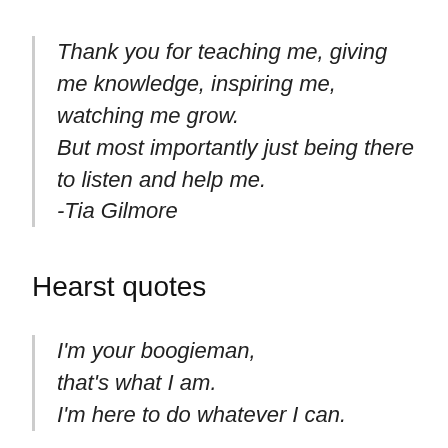Thank you for teaching me, giving me knowledge, inspiring me, watching me grow.
But most importantly just being there to listen and help me.
-Tia Gilmore
Hearst quotes
I'm your boogieman,
that's what I am.
I'm here to do whatever I can.